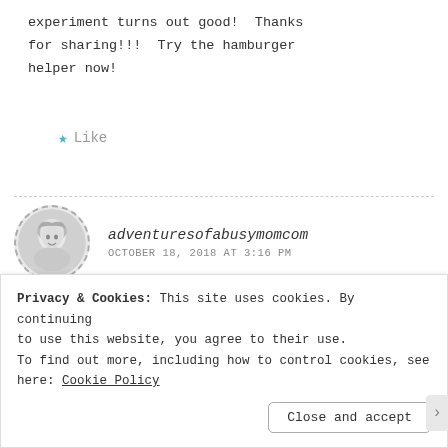experiment turns out good! Thanks for sharing!!! Try the hamburger helper now!
★ Like
adventuresofabusymomcom
OCTOBER 18, 2018 AT 3:16 PM
That sounds really good! I'd love to
Privacy & Cookies: This site uses cookies. By continuing to use this website, you agree to their use. To find out more, including how to control cookies, see here: Cookie Policy
Close and accept